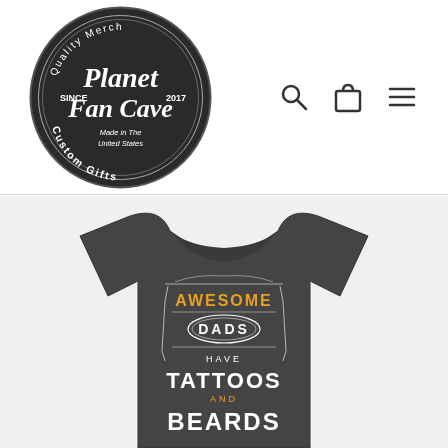[Figure (logo): Planet Fan Cave circular logo - dark chalkboard style circle with text: Quality Merch (top arc), SINCE 2017, Planet Fan Cave (large script lettering), Made in The United States, Custom Gifts (bottom arc)]
[Figure (illustration): Navigation icons: search (magnifying glass), cart (shopping bag), and menu (hamburger/three lines)]
[Figure (photo): Dark gray heather t-shirt with graphic: AWESOME (gold/yellow), DADS (white in oval), HAVE TATTOOS AND BEARDS (white bold text), decorative whiskey label style border design]